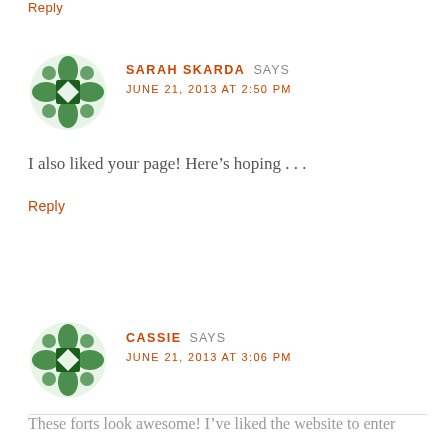Reply
SARAH SKARDA SAYS
JUNE 21, 2013 AT 2:50 PM
I also liked your page! Here’s hoping . . .
Reply
CASSIE SAYS
JUNE 21, 2013 AT 3:06 PM
These forts look awesome! I’ve liked the website to enter